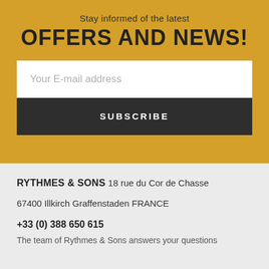Stay informed of the latest
OFFERS AND NEWS!
Your E-mail address
SUBSCRIBE
RYTHMES & SONS
18 rue du Cor de Chasse
67400 Illkirch Graffenstaden FRANCE
+33 (0) 388 650 615
The team of Rythmes & Sons answers your questions